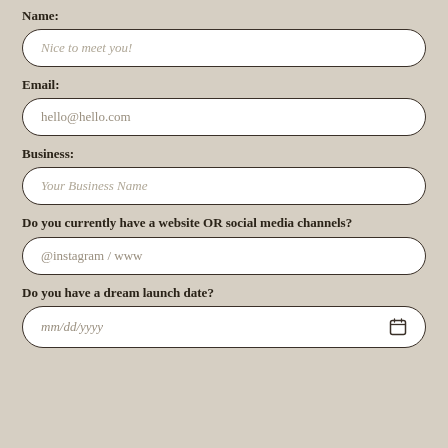Name:
Nice to meet you!
Email:
hello@hello.com
Business:
Your Business Name
Do you currently have a website OR social media channels?
@instagram / www
Do you have a dream launch date?
mm/dd/yyyy